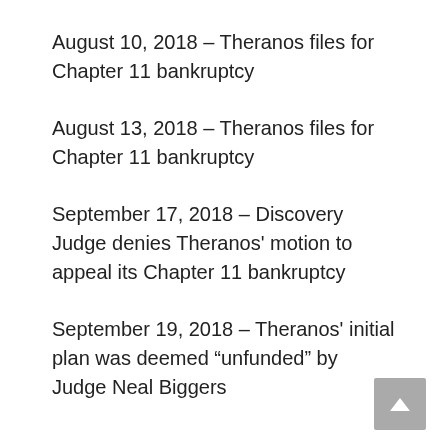August 10, 2018 – Theranos files for Chapter 11 bankruptcy
August 13, 2018 – Theranos files for Chapter 11 bankruptcy
September 17, 2018 – Discovery Judge denies Theranos' motion to appeal its Chapter 11 bankruptcy
September 19, 2018 – Theranos' initial plan was deemed “unfunded” by Judge Neal Biggers